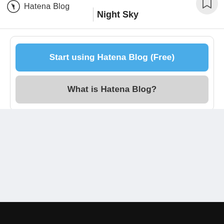Hatena Blog | Night Sky
Start using Hatena Blog (Free)
What is Hatena Blog?